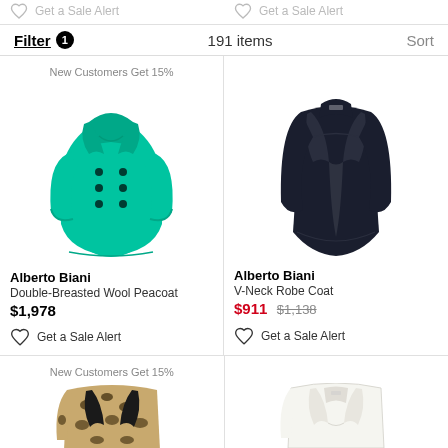Filter 1   191 items   Sort
New Customers Get 15%
[Figure (photo): Teal/green double-breasted wool peacoat]
Alberto Biani
Double-Breasted Wool Peacoat
$1,978
Get a Sale Alert
[Figure (photo): Dark navy V-neck robe coat]
Alberto Biani
V-Neck Robe Coat
$911 $1,138
Get a Sale Alert
New Customers Get 15%
[Figure (photo): Leopard print blazer coat (partially visible)]
[Figure (photo): White/cream blazer coat (partially visible)]